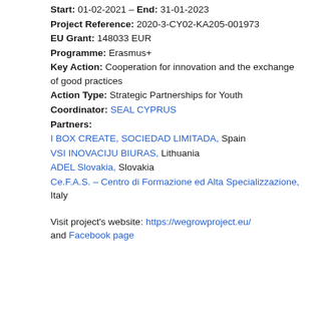Start: 01-02-2021 – End: 31-01-2023
Project Reference: 2020-3-CY02-KA205-001973
EU Grant: 148033 EUR
Programme: Erasmus+
Key Action: Cooperation for innovation and the exchange of good practices
Action Type: Strategic Partnerships for Youth
Coordinator: SEAL CYPRUS
Partners:
I BOX CREATE, SOCIEDAD LIMITADA, Spain
VSI INOVACIJU BIURAS, Lithuania
ADEL Slovakia, Slovakia
Ce.F.A.S. – Centro di Formazione ed Alta Specializzazione, Italy
Visit project's website: https://wegrowproject.eu/ and Facebook page